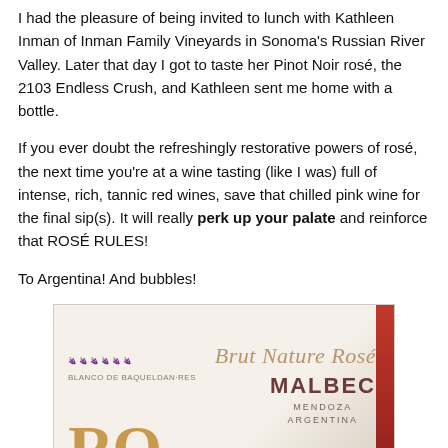I had the pleasure of being invited to lunch with Kathleen Inman of Inman Family Vineyards in Sonoma's Russian River Valley. Later that day I got to taste her Pinot Noir rosé, the 2103 Endless Crush, and Kathleen sent me home with a bottle.
If you ever doubt the refreshingly restorative powers of rosé, the next time you're at a wine tasting (like I was) full of intense, rich, tannic red wines, save that chilled pink wine for the final sip(s). It will really perk up your palate and reinforce that ROSÉ RULES!
To Argentina! And bubbles!
[Figure (photo): Close-up photo of a wine bottle label showing 'Brut Nature Rosé MALBEC MENDOZA ARGENTINA' with 'RO' in large gold letters on the left side, script text and decorative elements. The label has a cream/white background with gold and dark red text.]